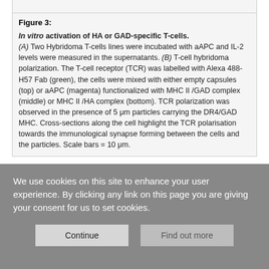[Figure (other): Top portion of a figure (cropped), light gray box with border]
Figure 3:
In vitro activation of HA or GAD-specific T-cells.
(A) Two Hybridoma T-cells lines were incubated with aAPC and IL-2 levels were measured in the supernatants. (B) T-cell hybridoma polarization. The T-cell receptor (TCR) was labelled with Alexa 488-H57 Fab (green), the cells were mixed with either empty capsules (top) or aAPC (magenta) functionalized with MHC II /GAD complex (middle) or MHC II /HA complex (bottom). TCR polarization was observed in the presence of 5 μm particles carrying the DR4/GAD MHC. Cross-sections along the cell highlight the TCR polarisation towards the immunological synapse forming between the cells and the particles. Scale bars = 10 μm.
[Figure (other): Lower figure box, light gray, partially visible]
We use cookies on this site to enhance your user experience. By clicking any link on this page you are giving your consent for us to set cookies.
Continue   Find out more